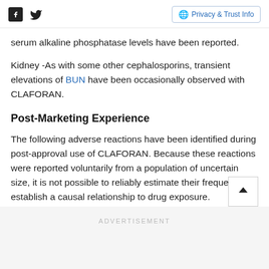Social icons and Privacy & Trust Info button
serum alkaline phosphatase levels have been reported.
Kidney -As with some other cephalosporins, transient elevations of BUN have been occasionally observed with CLAFORAN.
Post-Marketing Experience
The following adverse reactions have been identified during post-approval use of CLAFORAN. Because these reactions were reported voluntarily from a population of uncertain size, it is not possible to reliably estimate their frequency or establish a causal relationship to drug exposure.
ADVERTISEMENT